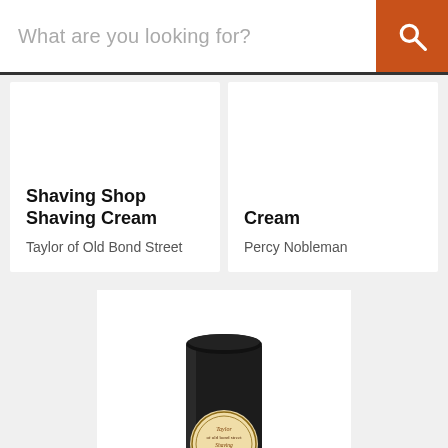[Figure (screenshot): Search bar with placeholder text 'What are you looking for?' and an orange search button with magnifying glass icon]
Shaving Shop Shaving Cream
Taylor of Old Bond Street
Cream
Percy Nobleman
[Figure (photo): Taylor of Old Bond Street Sandalwood Shaving Stick product in a black cylindrical container with a round beige label]
$17.49 USD
Taylor of Old Bond Street Sandalwood Shaving Stick
Taylor of Old Bond Street